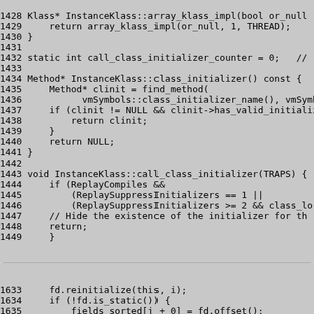Code block showing C++ source lines 1428-1449 and 1633-1637 from InstanceKlass implementation
1428 Klass* InstanceKlass::array_klass_impl(bool or_null
1429     return array_klass_impl(or_null, 1, THREAD);
1430 }
1431 
1432 static int call_class_initializer_counter = 0;   //
1433 
1434 Method* InstanceKlass::class_initializer() const {
1435     Method* clinit = find_method(
1436           vmSymbols::class_initializer_name(), vmSymbol
1437     if (clinit != NULL && clinit->has_valid_initializ
1438         return clinit;
1439     }
1440     return NULL;
1441 }
1442 
1443 void InstanceKlass::call_class_initializer(TRAPS) {
1444     if (ReplayCompiles &&
1445         (ReplaySuppressInitializers == 1 ||
1446         (ReplaySuppressInitializers >= 2 && class_lo
1447     // Hide the existence of the initializer for th
1448     return;
1449     }
1633     fd.reinitialize(this, i);
1634     if (!fd.is_static()) {
1635         fields_sorted[j + 0] = fd.offset();
1636         fields_sorted[j + 1] = i;
1637     j += 2;